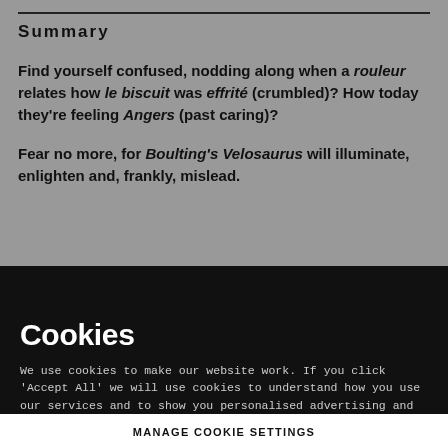Summary
Find yourself confused, nodding along when a rouleur relates how le biscuit was effrité (crumbled)? How today they're feeling Angers (past caring)?
Fear no more, for Boulting's Velosaurus will illuminate, enlighten and, frankly, mislead.
Cookies
We use cookies to make our website work. If you click 'Accept All' we will use cookies to understand how you use our services and to show you personalised advertising and other content. You can change your cookie settings by clicking 'Manage Cookies'. For more information please see our cookie policy
MANAGE COOKIE SETTINGS